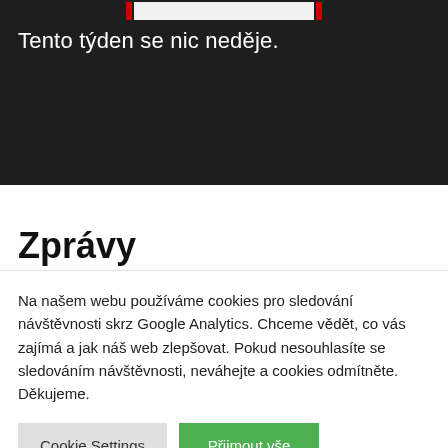Tento týden se nic neděje.
Zprávy
Na našem webu používáme cookies pro sledování návštěvnosti skrz Google Analytics. Chceme vědět, co vás zajímá a jak náš web zlepšovat. Pokud nesouhlasíte se sledováním návštěvnosti, neváhejte a cookies odmítněte. Děkujeme.
Cookie Settings | Přijmout vše